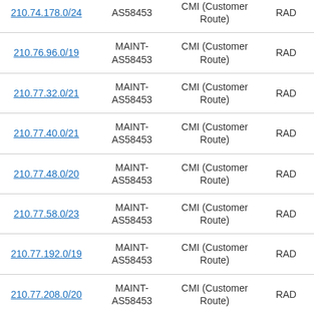| IP Prefix | Maintainer | Type | Registry |
| --- | --- | --- | --- |
| 210.74.178.0/24 | MAINT-AS58453 | CMI (Customer Route) | RAD |
| 210.76.96.0/19 | MAINT-AS58453 | CMI (Customer Route) | RAD |
| 210.77.32.0/21 | MAINT-AS58453 | CMI (Customer Route) | RAD |
| 210.77.40.0/21 | MAINT-AS58453 | CMI (Customer Route) | RAD |
| 210.77.48.0/20 | MAINT-AS58453 | CMI (Customer Route) | RAD |
| 210.77.58.0/23 | MAINT-AS58453 | CMI (Customer Route) | RAD |
| 210.77.192.0/19 | MAINT-AS58453 | CMI (Customer Route) | RAD |
| 210.77.208.0/20 | MAINT-AS58453 | CMI (Customer Route) | RAD |
| (partial) | MAINT- | CMI (Customer |  |